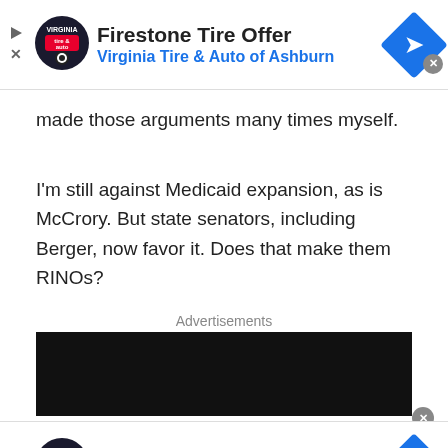[Figure (screenshot): Top advertisement banner: Firestone Tire Offer by Virginia Tire & Auto of Ashburn, with logo and navigation icon]
made those arguments many times myself.
I'm still against Medicaid expansion, as is McCrory. But state senators, including Berger, now favor it. Does that make them RINOs?
Advertisements
[Figure (photo): Dark/black advertisement block]
[Figure (screenshot): Bottom advertisement banner: Firestone Tire Rebate by Virginia Tire & Auto of Ashburn, with logo and navigation icon]